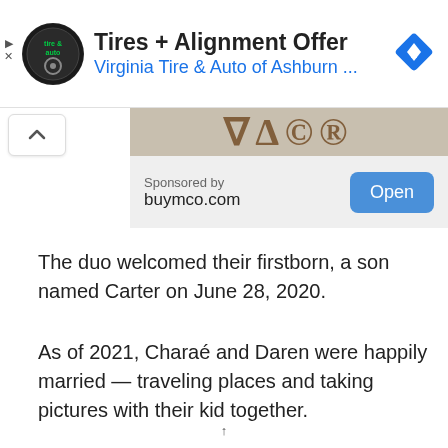[Figure (screenshot): Advertisement banner for Virginia Tire & Auto of Ashburn showing logo, title 'Tires + Alignment Offer', blue subtitle, and a blue diamond navigation icon]
[Figure (screenshot): Sponsored content block showing a partial image of hats/caps, a chevron-up button, 'Sponsored by buymco.com' label, and a blue 'Open' button]
The duo welcomed their firstborn, a son named Carter on June 28, 2020.
As of 2021, Charaé and Daren were happily married — traveling places and taking pictures with their kid together.
↑